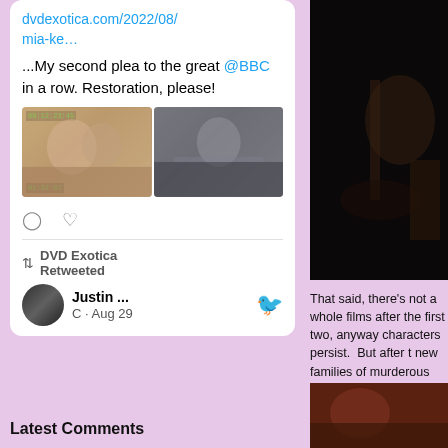dvdexotica.com/2022/08/mia-ke…
...My second plea to the great @BBC in a row. Restoration, please!
[Figure (photo): Two side-by-side stills from a film showing historical/medieval scenes]
DVD Exotica Retweeted
Justin ... @· Aug 29
[Figure (photo): Dark atmospheric film still from top right]
That said, there's not a whole films after the first two, anyway characters persist.  But after t new families of murderous can them.  But at least this entry h man who co-wrote and produc some major star power with ea McConaughey, not to mention billed as "Anonymous" in the c
[Figure (photo): Bottom right film still]
Latest Comments